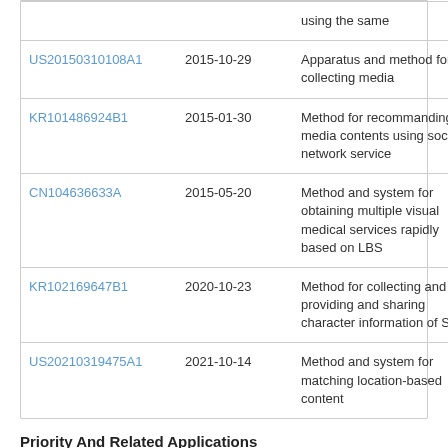| Patent ID | Date | Description |
| --- | --- | --- |
|  |  | using the same |
| US20150310108A1 | 2015-10-29 | Apparatus and method for collecting media |
| KR101486924B1 | 2015-01-30 | Method for recommanding media contents using social network service |
| CN104636633A | 2015-05-20 | Method and system for obtaining multiple visual medical services rapidly based on LBS |
| KR102169647B1 | 2020-10-23 | Method for collecting and providing and sharing character information of SNS |
| US20210319475A1 | 2021-10-14 | Method and system for matching location-based content |
Priority And Related Applications